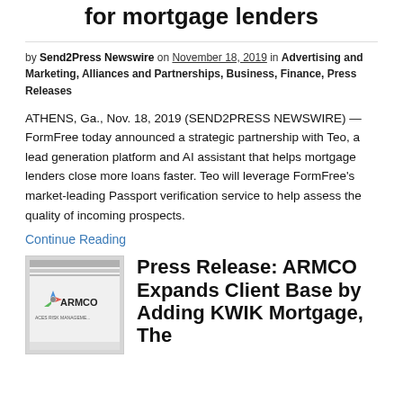for mortgage lenders
by Send2Press Newswire on November 18, 2019 in Advertising and Marketing, Alliances and Partnerships, Business, Finance, Press Releases
ATHENS, Ga., Nov. 18, 2019 (SEND2PRESS NEWSWIRE) — FormFree today announced a strategic partnership with Teo, a lead generation platform and AI assistant that helps mortgage lenders close more loans faster. Teo will leverage FormFree's market-leading Passport verification service to help assess the quality of incoming prospects.
Continue Reading
[Figure (logo): ARMCO - Aces Risk Management logo with colored star icon on grey/white background]
Press Release: ARMCO Expands Client Base by Adding KWIK Mortgage, The